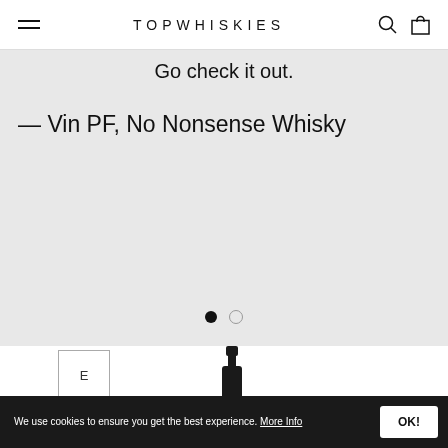TOPWHISKIES
Go check it out.
— Vin PF, No Nonsense Whisky
[Figure (other): Carousel navigation dots: one filled black dot and one empty circle dot]
[Figure (other): Product images: a white box with letter E on the left and a dark whisky bottle on the right]
We use cookies to ensure you get the best experience. More Info